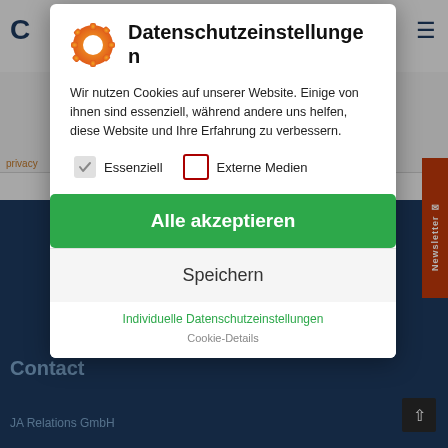[Figure (screenshot): Website background showing a navigation bar with logo 'C' and hamburger menu, a dark navy blue footer area with 'Contact' heading and 'JA Relations GmbH' text, and an orange newsletter sidebar tab.]
Datenschutzeinstellungen
Wir nutzen Cookies auf unserer Website. Einige von ihnen sind essenziell, während andere uns helfen, diese Website und Ihre Erfahrung zu verbessern.
Essenziell
Externe Medien
Alle akzeptieren
Speichern
Individuelle Datenschutzeinstellungen
Cookie-Details